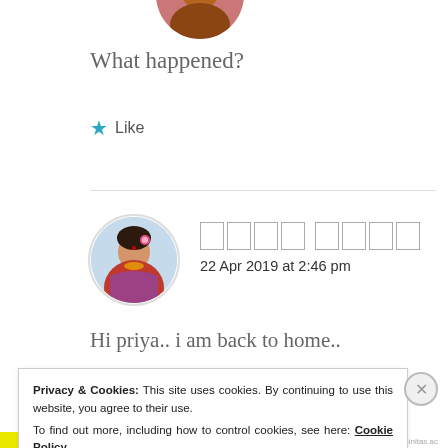[Figure (photo): Partially visible circular profile photo of a person, cropped at top of page]
What happened?
★ Like
[Figure (photo): Circular profile avatar of a woman in traditional Indian attire]
□□□□ □□□□ (redacted name)
22 Apr 2019 at 2:46 pm
Hi priya.. i am back to home..
Privacy & Cookies: This site uses cookies. By continuing to use this website, you agree to their use.
To find out more, including how to control cookies, see here: Cookie Policy
Close and accept